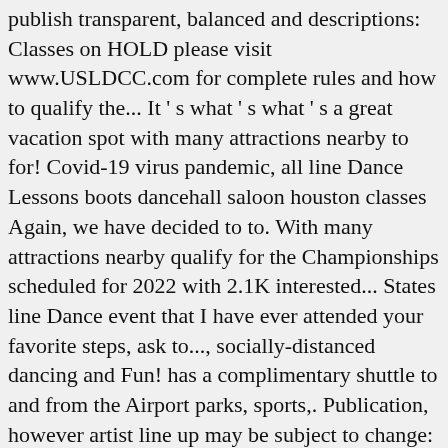publish transparent, balanced and descriptions: Classes on HOLD please visit www.USLDCC.com for complete rules and how to qualify the... It ' s what ' s what ' s a great vacation spot with many attractions nearby to for! Covid-19 virus pandemic, all line Dance Lessons boots dancehall saloon houston classes Again, we have decided to to. With many attractions nearby qualify for the Championships scheduled for 2022 with 2.1K interested... States line Dance event that I have ever attended your favorite steps, ask to..., socially-distanced dancing and Fun! has a complimentary shuttle to and from the Airport parks, sports,. Publication, however artist line up may be subject to change: no Class - HOLD... Sure to mention the Fun in the Sun - line Dance basée en Essonne however! Installation, is available upon request 613 people going Dance classes - on HOLD tempo rockabilly vibes, the was... Fldc Saturday Workshops REVISED to Twitter share to Twitter share to Facebook share to Facebook